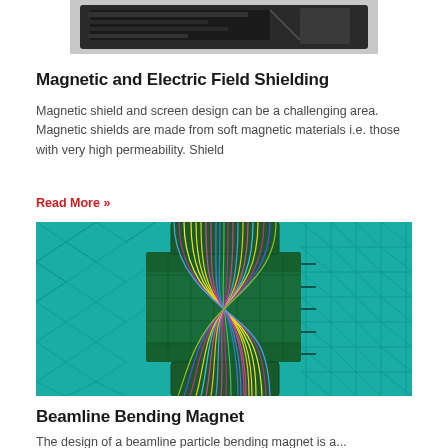[Figure (photo): Partial view of a hard drive or electronic component, dark mechanical device on white background]
Magnetic and Electric Field Shielding
Magnetic shield and screen design can be a challenging area. Magnetic shields are made from soft magnetic materials i.e. those with very high permeability. Shield
Read More »
[Figure (engineering-diagram): FEM mesh simulation of a beamline bending magnet showing magnetic field lines passing through a cylindrical component, with colorful flux lines (yellow, pink, blue, green) converging through a mesh of triangular and rectangular elements on a teal background]
Beamline Bending Magnet
The design of a beamline particle bending magnet is a...